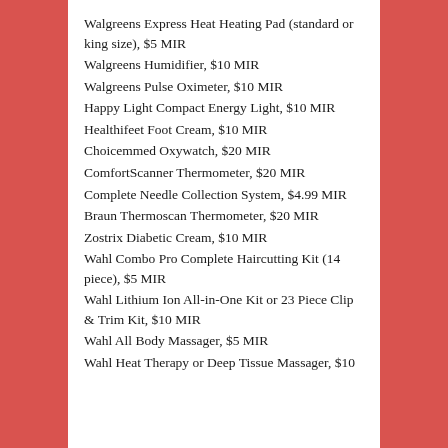Walgreens Express Heat Heating Pad (standard or king size), $5 MIR
Walgreens Humidifier, $10 MIR
Walgreens Pulse Oximeter, $10 MIR
Happy Light Compact Energy Light, $10 MIR
Healthifeet Foot Cream, $10 MIR
Choicemmed Oxywatch, $20 MIR
ComfortScanner Thermometer, $20 MIR
Complete Needle Collection System, $4.99 MIR
Braun Thermoscan Thermometer, $20 MIR
Zostrix Diabetic Cream, $10 MIR
Wahl Combo Pro Complete Haircutting Kit (14 piece), $5 MIR
Wahl Lithium Ion All-in-One Kit or 23 Piece Clip & Trim Kit, $10 MIR
Wahl All Body Massager, $5 MIR
Wahl Heat Therapy or Deep Tissue Massager, $10